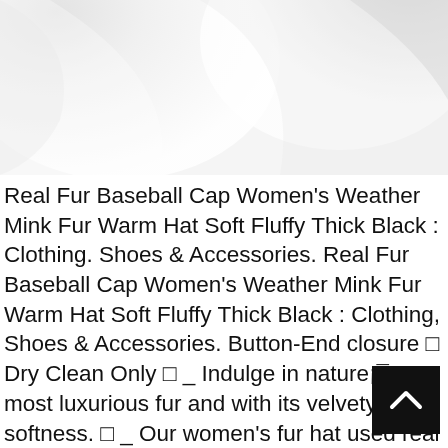[Figure (photo): Close-up photo of a white fabric or clothing item, showing soft white material with curved folds against a light background.]
Real Fur Baseball Cap Women's Weather Mink Fur Warm Hat Soft Fluffy Thick Black : Clothing. Shoes & Accessories. Real Fur Baseball Cap Women's Weather Mink Fur Warm Hat Soft Fluffy Thick Black : Clothing, Shoes & Accessories. Button-End closure □ Dry Clean Only □ _ Indulge in nature¡¯s most luxurious fur and with its velvety softness. □ _ Our women's fur hat used real mink fur. Indulge in nature¡¯s most luxurious fur and with its velvety softness. □ _ The design is very fashionable and the material is noble. The wom ur hats can bring you warmth in the cold winter a